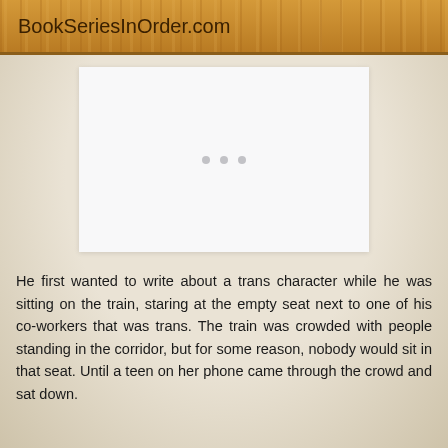BookSeriesInOrder.com
[Figure (other): A blank white content card with three small grey loading dots centered in the middle, displayed against a beige/tan background.]
He first wanted to write about a trans character while he was sitting on the train, staring at the empty seat next to one of his co-workers that was trans. The train was crowded with people standing in the corridor, but for some reason, nobody would sit in that seat. Until a teen on her phone came through the crowd and sat down.